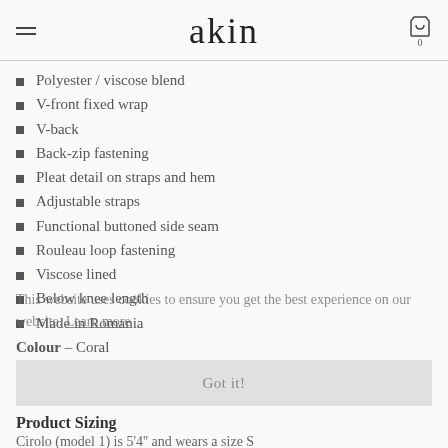akin
Polyester / viscose blend
V-front fixed wrap
V-back
Back-zip fastening
Pleat detail on straps and hem
Adjustable straps
Functional buttoned side seam
Rouleau loop fastening
Viscose lined
Below knee length
Made in Romania
This website uses cookies to ensure you get the best experience on our website. Learn more
Colour – Coral
Got it!
Product Sizing
Cirolo (model 1) is 5'4'' and wears a size S